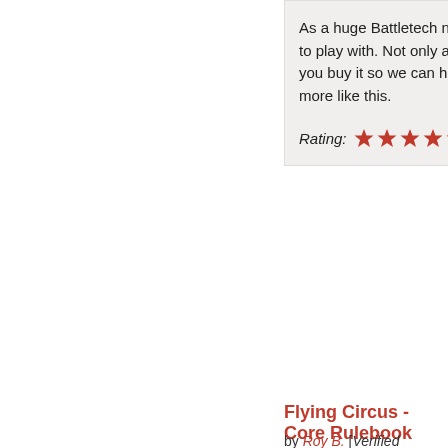As a huge Battletech nerd, I lo... to play with. Not only are the m... you buy it so we can hopefully... more like this.
Rating: [5 of 5 S...]
Flying Circus - Core Rulebook
by Roy B. [Verified Purchaser]
The setting is the first thing tha... post apocalypse world where y...
At first, the gameplay may see... overwhelming but once you ge... flow.
Overall, I totally recommend th...